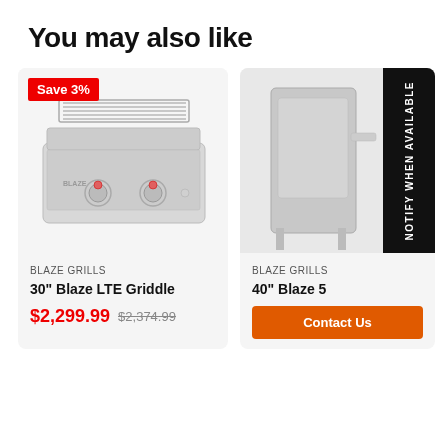You may also like
[Figure (photo): Blaze LTE Griddle product photo — a stainless steel flat griddle with two red knobs and a vented back panel]
BLAZE GRILLS
30" Blaze LTE Griddle
$2,299.99  $2,374.99
[Figure (photo): Blaze 5-burner grill product photo partially visible, with a black 'NOTIFY WHEN AVAILABLE' overlay banner]
BLAZE GRILLS
40" Blaze 5
Contact Us